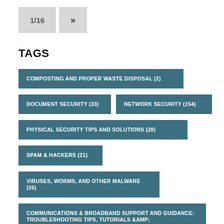1/16 »
TAGS
COMPOSTING AND PROPER WASTE DISPOSAL (2)
DOCUMENT SECURITY (33)
NETWORK SECURITY (154)
PHYSICAL SECURITY TIPS AND SOLUTIONS (28)
SPAM & HACKERS (21)
VIRUSES, WORMS, AND OTHER MALWARE (26)
COMMUNICATIONS & BROADBAND SUPPORT AND GUIDANCE: TROUBLESHOOTING TIPS, TUTORIALS &AMP; USER GUIDES FOR YOUR HOME OR BUSINESS